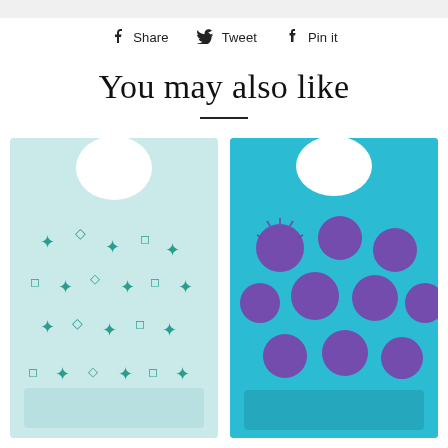Share  Tweet  Pin it
You may also like
[Figure (photo): Two sports bras side by side. Left: light blue/mint sports bra with teal geometric snowflake and diamond pattern. Right: teal/blue sports bra with purple fuzzy dot pattern.]